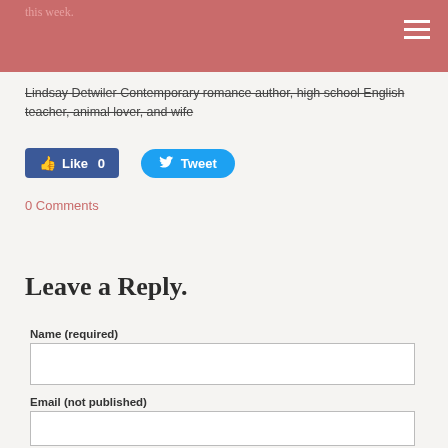this week.
Lindsay Detwiler Contemporary romance author, high school English teacher, animal lover, and wife
[Figure (screenshot): Facebook Like button showing count 0 and Twitter Tweet button]
0 Comments
Leave a Reply.
Name (required)
Email (not published)